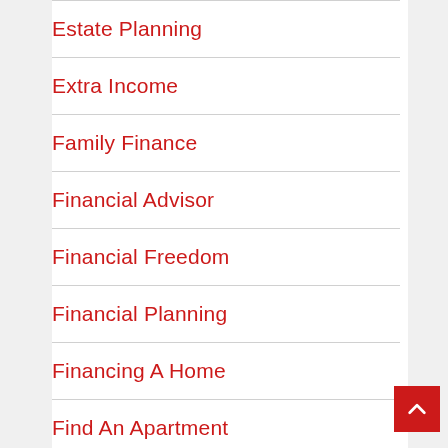Estate Planning
Extra Income
Family Finance
Financial Advisor
Financial Freedom
Financial Planning
Financing A Home
Find An Apartment
Finishing Your Degree